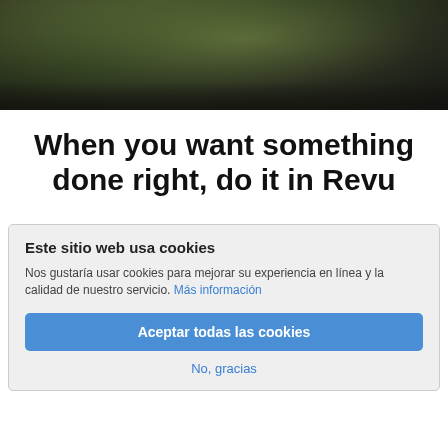[Figure (photo): Dark photo banner showing a person working on a laptop, yellowish-green tones]
When you want something done right, do it in Revu
Este sitio web usa cookies
Nos gustaría usar cookies para mejorar su experiencia en línea y la calidad de nuestro servicio. Más información
Aceptar todas las cookies
No, gracias
Logística de la obra
Construction sites are constantly changing, and maintaining an organized and safe work environment requires continuous coordination with the entire project team. Revu includes customizable markup and collaboration tools that allow you to capture and